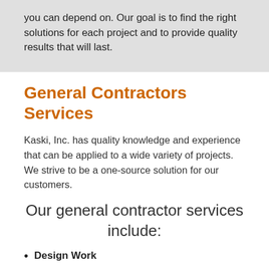you can depend on. Our goal is to find the right solutions for each project and to provide quality results that will last.
General Contractors Services
Kaski, Inc. has quality knowledge and experience that can be applied to a wide variety of projects. We strive to be a one-source solution for our customers.
Our general contractor services include:
Design Work